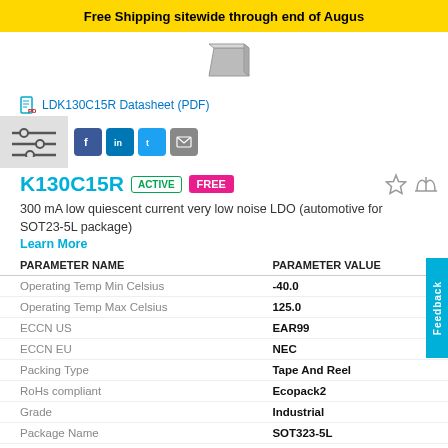Free Shipping sitewide through end of August
[Figure (illustration): Small product package illustration (chip/component outline)]
LDK130C15R Datasheet (PDF)
LDK130C15R   ACTIVE   FREE
300 mA low quiescent current very low noise LDO (automotive for SOT23-5L package)
Learn More
| PARAMETER NAME | PARAMETER VALUE |
| --- | --- |
| Operating Temp Min Celsius | -40.0 |
| Operating Temp Max Celsius | 125.0 |
| ECCN US | EAR99 |
| ECCN EU | NEC |
| Packing Type | Tape And Reel |
| RoHs compliant | Ecopack2 |
| Grade | Industrial |
| Package Name | SOT323-5L |